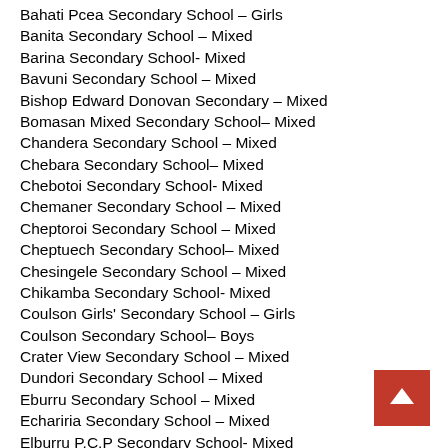Bahati Pcea Secondary School – Girls
Banita Secondary School – Mixed
Barina Secondary School- Mixed
Bavuni Secondary School – Mixed
Bishop Edward Donovan Secondary – Mixed
Bomasan Mixed Secondary School– Mixed
Chandera Secondary School – Mixed
Chebara Secondary School– Mixed
Chebotoi Secondary School- Mixed
Chemaner Secondary School – Mixed
Cheptoroi Secondary School – Mixed
Cheptuech Secondary School– Mixed
Chesingele Secondary School – Mixed
Chikamba Secondary School- Mixed
Coulson Girls' Secondary School – Girls
Coulson Secondary School– Boys
Crater View Secondary School – Mixed
Dundori Secondary School – Mixed
Eburru Secondary School – Mixed
Echariria Secondary School – Mixed
Elburru P.C.P Secondary School- Mixed